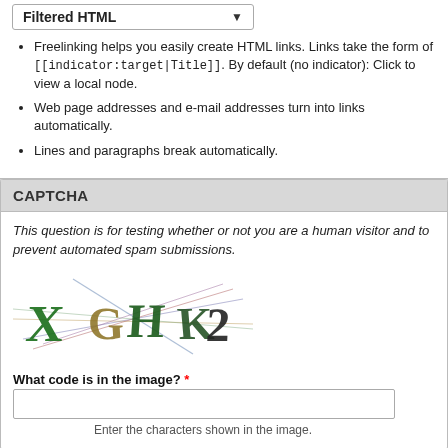[Figure (screenshot): Dropdown selector showing 'Filtered HTML' option with a downward arrow]
Freelinking helps you easily create HTML links. Links take the form of [[indicator:target|Title]]. By default (no indicator): Click to view a local node.
Web page addresses and e-mail addresses turn into links automatically.
Lines and paragraphs break automatically.
CAPTCHA
This question is for testing whether or not you are a human visitor and to prevent automated spam submissions.
[Figure (photo): CAPTCHA image showing distorted text 'XGHK2' with colorful overlapping letters and lines]
What code is in the image? *
Enter the characters shown in the image.
Save   Preview